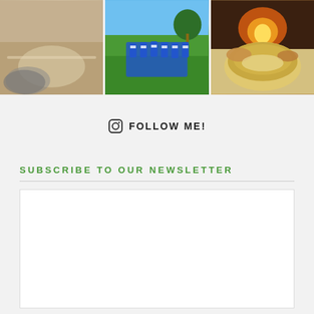[Figure (photo): Three Instagram-style photos in a row: dough/baking scene, football team huddle on field, bowl of soup by fireplace]
FOLLOW ME!
SUBSCRIBE TO OUR NEWSLETTER
Stay In The Know
Sign up to our free newsletter and receive